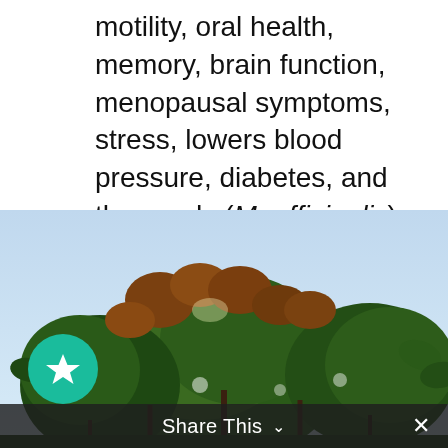motility, oral health, memory, brain function, menopausal symptoms, stress, lowers blood pressure, diabetes, and the seeds (M. officinalis) are used to improve eyesight.
[Figure (photo): Photograph of a magnolia tree or shrub with dark green and reddish-brown leaves against a light blue sky, taken from below looking up.]